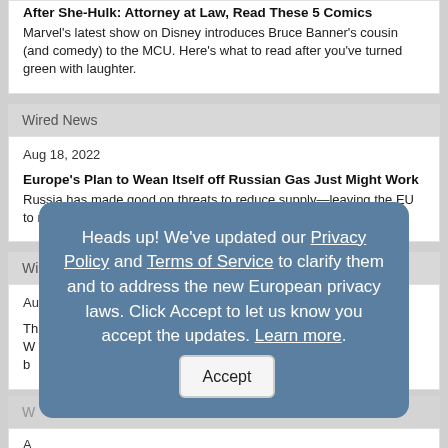After She-Hulk: Attorney at Law, Read These 5 Comics
Marvel's latest show on Disney introduces Bruce Banner's cousin (and comedy) to the MCU. Here's what to read after you've turned green with laughter.
Wired News
Aug 18, 2022
Europe's Plan to Wean Itself off Russian Gas Just Might Work
Russia has made good on threats to reduce supply—leaving the EU to navigate several tough winters of energy squeezes.
Wired News
Aug 18, 2022
Heads up! We've updated our Privacy Policy and Terms of Service to clarify them and to address the new European privacy laws. Click Accept to let us know you accept the updates. Learn more.
Th...